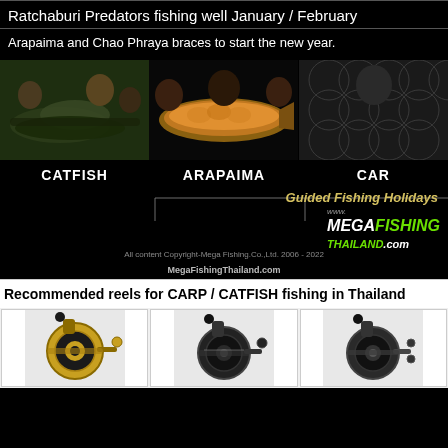Ratchaburi Predators fishing well January / February
Arapaima and Chao Phraya braces to start the new year.
[Figure (photo): Three fishing photos side by side: catfish catch, arapaima catch, and close-up of fish scales]
CATFISH  ARAPAIMA  CAR
Guided Fishing Holidays www.MEGAFISHINGTHAILAND.com
All content Copyright-Mega Fishing.Co.,Ltd. 2006 - 2022
MegaFishingThailand.com
Recommended reels for CARP / CATFISH fishing in Thailand
[Figure (photo): Three fishing reels side by side on white/grey background]